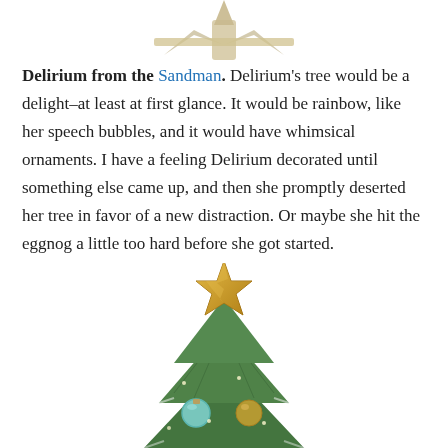[Figure (photo): Partial top image of a Christmas tree topper or ornament, cropped at the top of the page]
Delirium from the Sandman. Delirium's tree would be a delight–at least at first glance. It would be rainbow, like her speech bubbles, and it would have whimsical ornaments. I have a feeling Delirium decorated until something else came up, and then she promptly deserted her tree in favor of a new distraction. Or maybe she hit the eggnog a little too hard before she got started.
[Figure (photo): A Christmas tree with a large gold glittery star topper, with teal and gold ornaments visible on the upper branches, photographed against a white background]